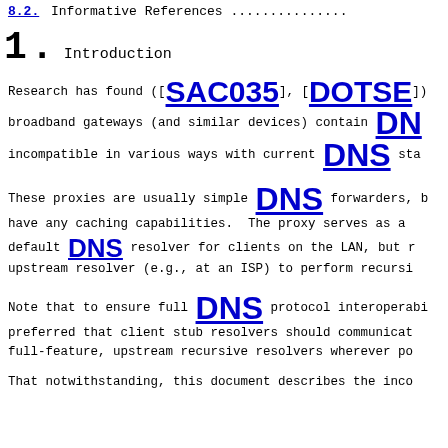8.2. Informative References .............
1. Introduction
Research has found ([SAC035], [DOTSE]) broadband gateways (and similar devices) contain DNS incompatible in various ways with current DNS standards.
These proxies are usually simple DNS forwarders, but may not have any caching capabilities. The proxy serves as a default DNS resolver for clients on the LAN, but relies on an upstream resolver (e.g., at an ISP) to perform recursive resolution.
Note that to ensure full DNS protocol interoperability, it is preferred that client stub resolvers should communicate with full-feature, upstream recursive resolvers wherever possible.
That notwithstanding, this document describes the incompatibilities